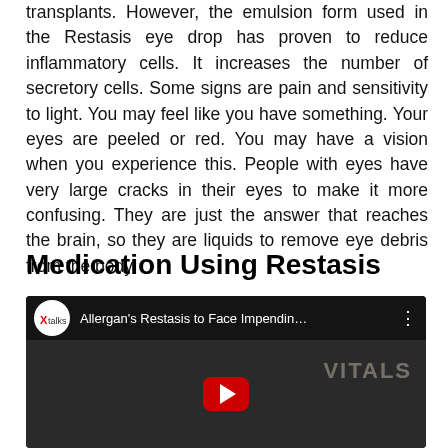transplants. However, the emulsion form used in the Restasis eye drop has proven to reduce inflammatory cells. It increases the number of secretory cells. Some signs are pain and sensitivity to light. You may feel like you have something. Your eyes are peeled or red. You may have a vision when you experience this. People with eyes have very large cracks in their eyes to make it more confusing. They are just the answer that reaches the brain, so they are liquids to remove eye debris from the body.
Medication Using Restasis
[Figure (screenshot): Embedded YouTube video player showing 'Allergan's Restasis to Face Impendin...' by Xtalks, with a dark thumbnail showing hands and a 'VITALS' watermark, with a red play button at the bottom center.]